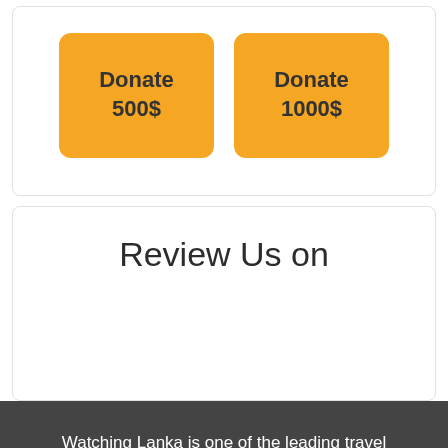[Figure (other): Two orange donation buttons side by side: 'Donate 500$' and 'Donate 1000$' inside a white card with border]
Review Us on
Watching Lanka is one of the leading travel companies in Sri Lanka. With a vision of promoting travel & tourism in Sri Lanka